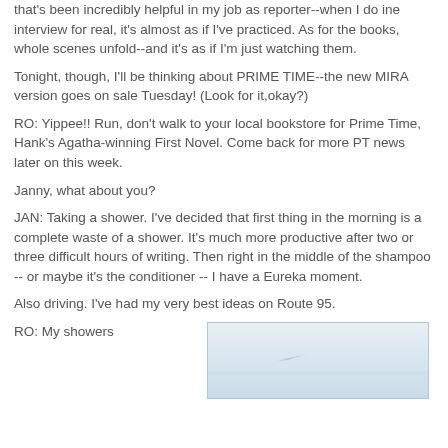that's been incredibly helpful in my job as reporter--when I do ine interview for real, it's almost as if I've practiced. As for the books, whole scenes unfold--and it's as if I'm just watching them.
Tonight, though, I'll be thinking about PRIME TIME--the new MIRA version goes on sale Tuesday! (Look for it,okay?)
RO: Yippee!! Run, don't walk to your local bookstore for Prime Time, Hank's Agatha-winning First Novel. Come back for more PT news later on this week.
Janny, what about you?
JAN: Taking a shower. I've decided that first thing in the morning is a complete waste of a shower. It's much more productive after two or three difficult hours of writing. Then right in the middle of the shampoo -- or maybe it's the conditioner -- I have a Eureka moment.
Also driving. I've had my very best ideas on Route 95.
RO: My showers
[Figure (photo): Partial view of a light-colored sky or water surface, appears faded/washed out]